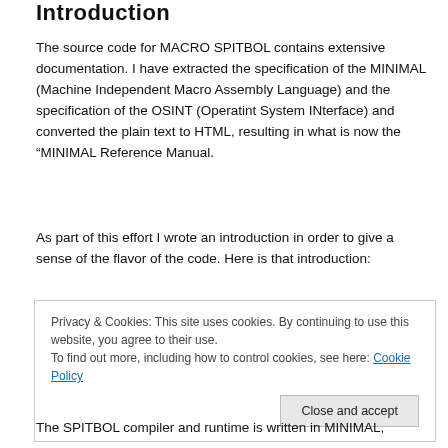Introduction
The source code for MACRO SPITBOL contains extensive documentation. I have extracted the specification of the MINIMAL (Machine Independent Macro Assembly Language) and the specification of the OSINT (Operatint System INterface) and converted the plain text to HTML, resulting in what is now the “MINIMAL Reference Manual.
As part of this effort I wrote an introduction in order to give a sense of the flavor of the code. Here is that introduction:
Privacy & Cookies: This site uses cookies. By continuing to use this website, you agree to their use.
To find out more, including how to control cookies, see here: Cookie Policy
The SPITBOL compiler and runtime is written in MINIMAL,